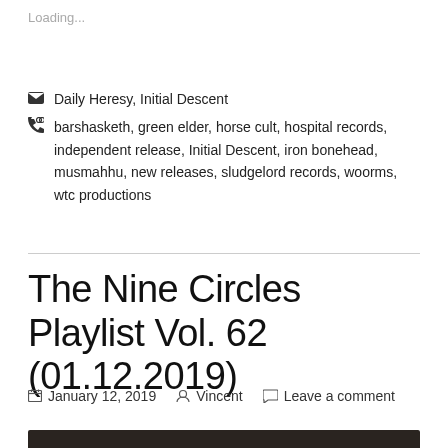Loading...
Daily Heresy, Initial Descent
barshasketh, green elder, horse cult, hospital records, independent release, Initial Descent, iron bonehead, musmahhu, new releases, sludgelord records, woorms, wtc productions
The Nine Circles Playlist Vol. 62 (01.12.2019)
January 12, 2019  Vincent  Leave a comment
[Figure (photo): Partial view of a vintage radio or audio device with dark wooden frame and a green/teal label area with handwritten text partially visible at the bottom of the page]